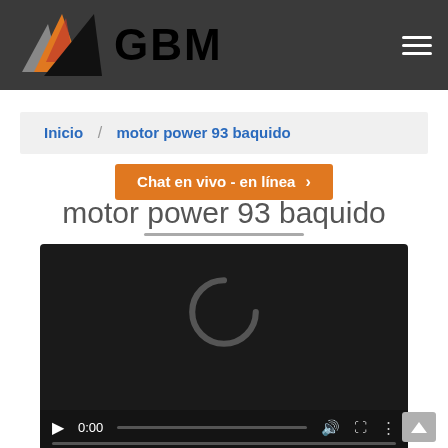[Figure (logo): GBM logo with mountain/triangle graphic in orange, red, gray and black, with 'GBM' text in bold black]
Inicio / motor power 93 baquido
Chat en vivo - en línea >
motor power 93 baquido
[Figure (screenshot): Video player in dark/black background showing a loading spinner (letter C shape), with playback controls: play button, time 0:00, volume icon, fullscreen icon, more options icon, and a progress bar at the bottom]